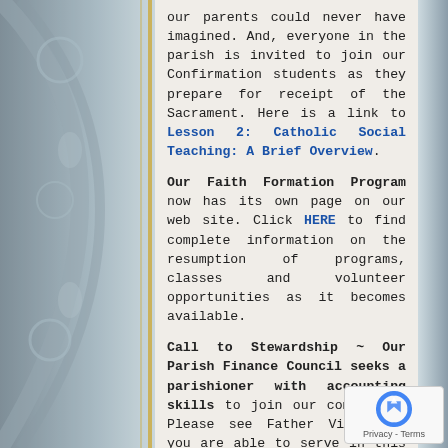our parents could never have imagined. And, everyone in the parish is invited to join our Confirmation students as they prepare for receipt of the Sacrament. Here is a link to Lesson 2: Catholic Social Teaching: A Brief Overview.
Our Faith Formation Program now has its own page on our web site. Click HERE to find complete information on the resumption of programs, classes and volunteer opportunities as it becomes available.
Call to Stewardship ~ Our Parish Finance Council seeks a parishioner with accounting skills to join our committee. Please see Father Victor if you are able to serve in this capacity.
The Diocese of Buffalo has joined other faith communities and civic organizations in partnering with the Census Bureau to